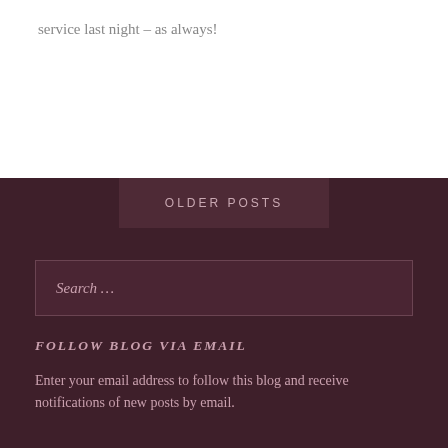service last night – as always!
OLDER POSTS
Search …
FOLLOW BLOG VIA EMAIL
Enter your email address to follow this blog and receive notifications of new posts by email.